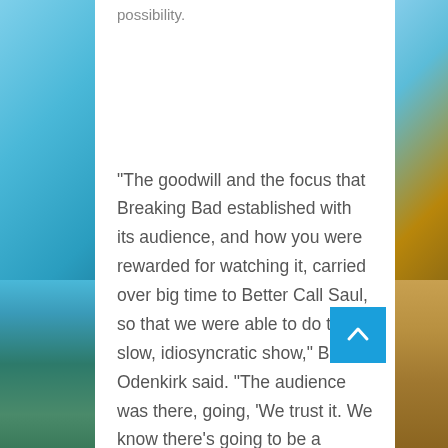possibility.
“The goodwill and the focus that Breaking Bad established with its audience, and how you were rewarded for watching it, carried over big time to Better Call Saul, so that we were able to do this slow, idiosyncratic show,” Bob Odenkirk said. “The audience was there, going, ‘We trust it. We know there’s going to be a reward. Everything I’m watching is going to have meaning.’”